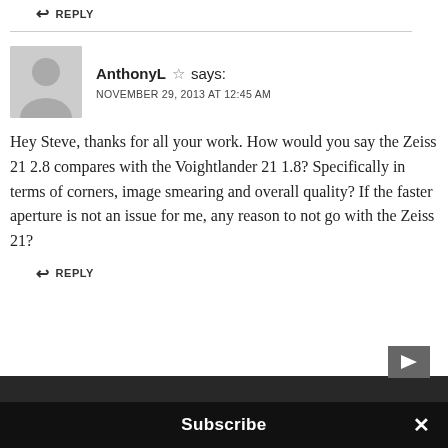REPLY
AnthonyL ☆ says:
NOVEMBER 29, 2013 AT 12:45 AM
Hey Steve, thanks for all your work. How would you say the Zeiss 21 2.8 compares with the Voightlander 21 1.8? Specifically in terms of corners, image smearing and overall quality?
If the faster aperture is not an issue for me, any reason to not go with the Zeiss 21?
REPLY
Subscribe